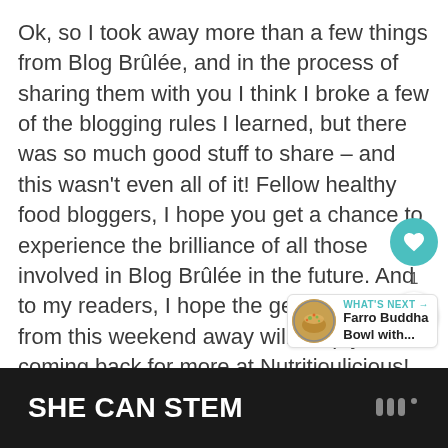Ok, so I took away more than a few things from Blog Brûlée, and in the process of sharing them with you I think I broke a few of the blogging rules I learned, but there was so much good stuff to share – and this wasn't even all of it! Fellow healthy food bloggers, I hope you get a chance to experience the brilliance of all those involved in Blog Brûlée in the future. And to my readers, I hope the gems I learned from this weekend away will keep you coming back for more at Nutritioulicious!
[Figure (screenshot): UI overlay with heart/like button (teal circle), count of 1, and share button]
[Figure (screenshot): What's Next widget showing Farro Buddha Bowl with... thumbnail and teal label]
SHE CAN STEM